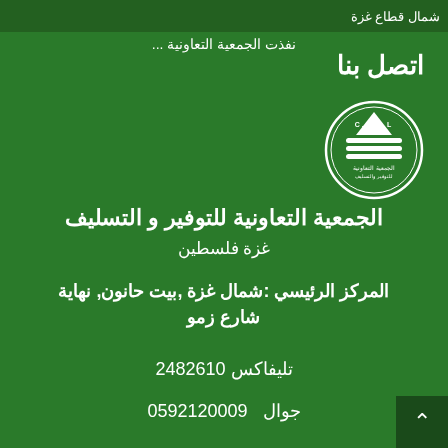شمال قطاع غزة
نفذت الجمعية التعاونية ...
اتصل بنا
[Figure (logo): CSSL cooperative association logo — white emblem with text on green background]
الجمعية التعاونية للتوفير و التسليف
غزة فلسطين
المركز الرئيسي :شمال غزة ,بيت حانون, نهاية شارع زمو
تليفاكس 2482610
جوال  0592120009